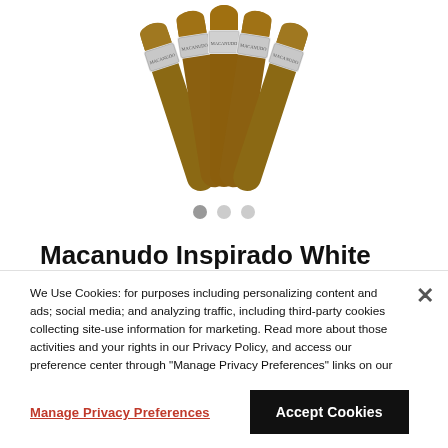[Figure (photo): Five Macanudo Inspirado White cigars standing upright, fanned out, showing branded bands with white and silver design]
Macanudo Inspirado White
We Use Cookies: for purposes including personalizing content and ads; social media; and analyzing traffic, including third-party cookies collecting site-use information for marketing. Read more about those activities and your rights in our Privacy Policy, and access our preference center through "Manage Privacy Preferences" links on our webpages. To learn more, visit our Privacy Policy.
Manage Privacy Preferences
Accept Cookies